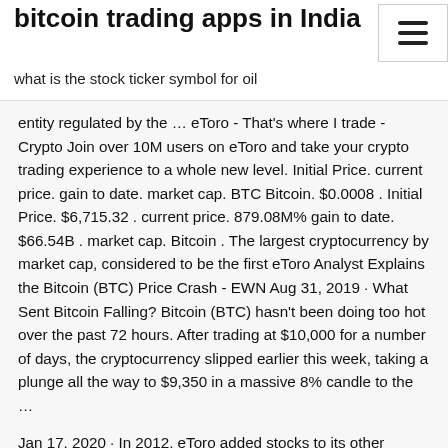bitcoin trading apps in India
what is the stock ticker symbol for oil
entity regulated by the … eToro - That's where I trade - Crypto Join over 10M users on eToro and take your crypto trading experience to a whole new level. Initial Price. current price. gain to date. market cap. BTC Bitcoin. $0.0008 . Initial Price. $6,715.32 . current price. 879.08M% gain to date. $66.54B . market cap. Bitcoin . The largest cryptocurrency by market cap, considered to be the first eToro Analyst Explains the Bitcoin (BTC) Price Crash - EWN Aug 31, 2019 · What Sent Bitcoin Falling? Bitcoin (BTC) hasn't been doing too hot over the past 72 hours. After trading at $10,000 for a number of days, the cryptocurrency slipped earlier this week, taking a plunge all the way to $9,350 in a massive 8% candle to the …
Jan 17, 2020 · In 2012, eToro added stocks to its other assets, like currencies and commodities. The eToro mobile app launched in 2013 for both Android and Apple, …